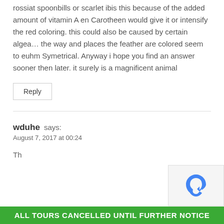rossiat spoonbills or scarlet ibis this because of the added amount of vitamin A en Carotheen would give it or intensify the red coloring. this could also be caused by certain algea… the way and places the feather are colored seem to euhm Symetrical. Anyway i hope you find an answer sooner then later. it surely is a magnificent animal
Reply
wduhe says:
August 7, 2017 at 00:24
ALL TOURS CANCELLED UNTIL FURTHER NOTICE